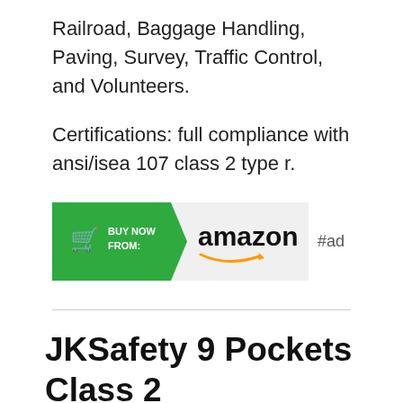Railroad, Baggage Handling, Paving, Survey, Traffic Control, and Volunteers.
Certifications: full compliance with ansi/isea 107 class 2 type r.
[Figure (other): Buy Now From Amazon banner ad with green arrow section containing shopping cart icon and 'BUY NOW FROM:' text, followed by Amazon logo with smile, and '#ad' label]
JKSafety 9 Pockets Class 2 High Visibility Safety Vest